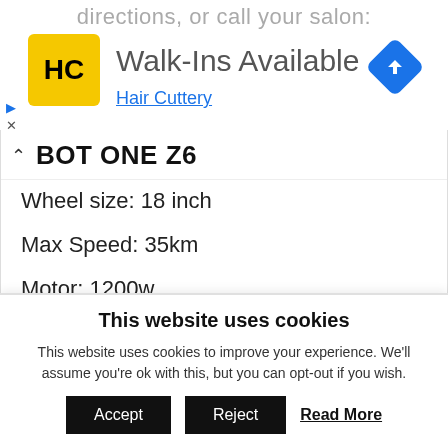[Figure (screenshot): Ad banner showing Hair Cuttery logo (HC in yellow square), 'Walk-Ins Available' text, 'Hair Cuttery' link, a blue diamond map/directions icon, and partial greyed-out text 'directions, or call your salon:' at top]
BOT ONE Z6
Wheel size: 18 inch
Max Speed: 35km
Motor: 1200w
Battery: 574wh
This website uses cookies
This website uses cookies to improve your experience. We'll assume you're ok with this, but you can opt-out if you wish.
Accept  Reject  Read More